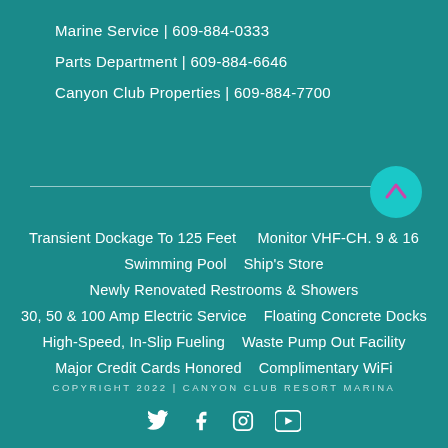Marine Service | 609-884-0333
Parts Department | 609-884-6646
Canyon Club Properties | 609-884-7700
Transient Dockage To 125 Feet    Monitor VHF-CH. 9 & 16
Swimming Pool    Ship's Store
Newly Renovated Restrooms & Showers
30, 50 & 100 Amp Electric Service    Floating Concrete Docks
High-Speed, In-Slip Fueling    Waste Pump Out Facility
Major Credit Cards Honored    Complimentary WiFi
COPYRIGHT 2022 | CANYON CLUB RESORT MARINA